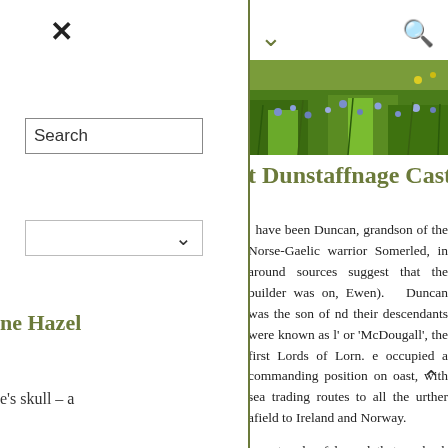[Figure (screenshot): Website page with left navigation panel showing close (X) button, search box, dropdown, and sidebar text. Right side shows article about Dunstaffnage Castle with hero banner image of wildflowers and green grass, article title partially visible, and body text partially visible.]
t Dunstaffnage Castle?
have been Duncan, grandson of the Norse-Gaelic warrior Somerled, in around sources suggest that the builder was on, Ewen). Duncan was the son of nd their descendants were known as l' or 'McDougall', the first Lords of Lorn. e occupied a commanding position on oast, with sea trading routes to all the urther afield to Ireland and Norway.
e strands of legend that go back another to the kingdom of Dalriada and the